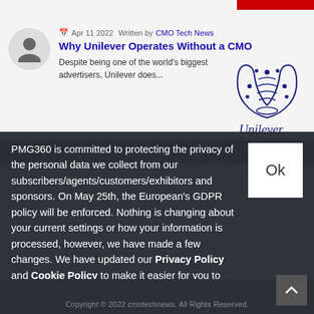[Figure (screenshot): Article preview showing avatar, date, author, title and excerpt for 'Why Unilever Operates Without a CMO' with Unilever logo]
PMG360 is committed to protecting the privacy of the personal data we collect from our subscribers/agents/customers/exhibitors and sponsors. On May 25th, the European's GDPR policy will be enforced. Nothing is changing about your current settings or how your information is processed, however, we have made a few changes. We have updated our Privacy Policy and Cookie Policy to make it easier for you to understand what information we collect, how and why we collect it.
Copyright © 2022 cmotechnews. All Rights Reserved.